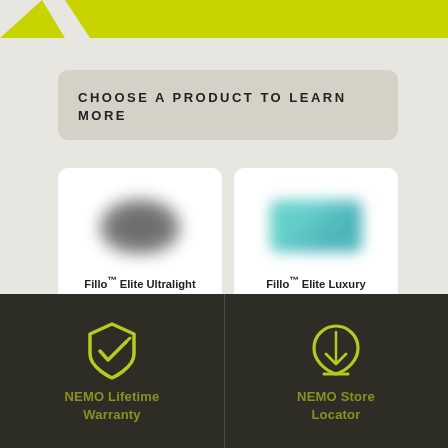[Figure (other): Yellow-green decorative banner/stripe at top of page]
CHOOSE A PRODUCT TO LEARN MORE
[Figure (photo): Product card: Fillo Elite Ultralight Backpacking Pillow with blurred dark pillow image]
Fillo™ Elite Ultralight Backpacking Pillow
[Figure (photo): Product card: Fillo Elite Luxury Backpacking Pillow with blurred teal pillow image]
Fillo™ Elite Luxury Backpacking Pillow
[Figure (other): NEMO shield/checkmark icon in yellow-green]
NEMO Lifetime Warranty
[Figure (other): NEMO store locator leaf/pin icon in yellow-green]
NEMO Store Locator